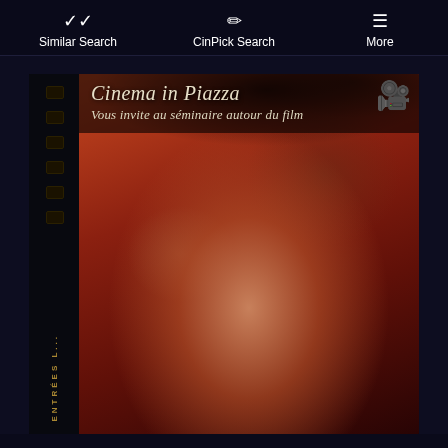Similar Search | CinPick Search | More
[Figure (photo): Cinema in Piazza event poster featuring a close-up of a person's face with reddish-brown tones. Text reads 'Cinema in Piazza - Vous invite au séminaire autour du film'. A red camera emoji is visible in the top right. A filmstrip border is on the left side.]